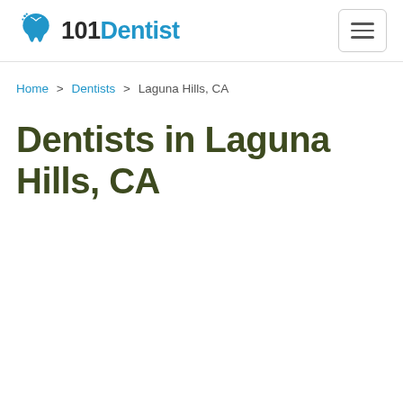[Figure (logo): 101Dentist logo with tooth icon in blue]
Home > Dentists > Laguna Hills, CA
Dentists in Laguna Hills, CA